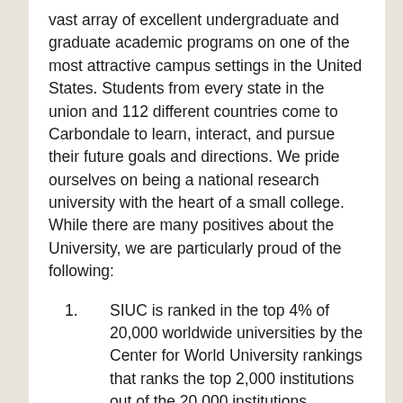vast array of excellent undergraduate and graduate academic programs on one of the most attractive campus settings in the United States. Students from every state in the union and 112 different countries come to Carbondale to learn, interact, and pursue their future goals and directions. We pride ourselves on being a national research university with the heart of a small college. While there are many positives about the University, we are particularly proud of the following:
SIUC is ranked in the top 4% of 20,000 worldwide universities by the Center for World University rankings that ranks the top 2,000 institutions out of the 20,000 institutions worldwide based on quality of education and faculty, alumni employment, and research performance. Research performance is measured by total number of papers, number of